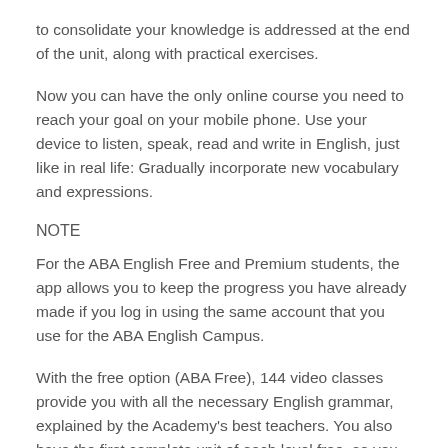to consolidate your knowledge is addressed at the end of the unit, along with practical exercises.
Now you can have the only online course you need to reach your goal on your mobile phone. Use your device to listen, speak, read and write in English, just like in real life: Gradually incorporate new vocabulary and expressions.
NOTE
For the ABA English Free and Premium students, the app allows you to keep the progress you have already made if you log in using the same account that you use for the ABA English Campus.
With the free option (ABA Free), 144 video classes provide you with all the necessary English grammar, explained by the Academy's best teachers. You also have the first complete unit of each level free, so you can try out the ABA